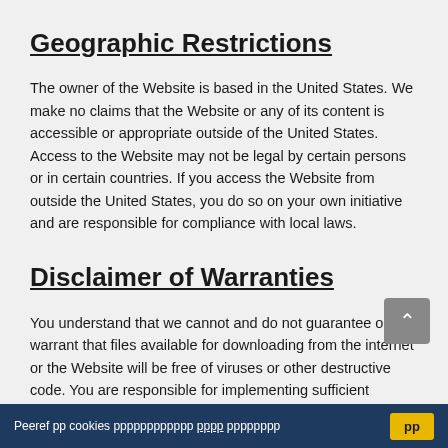Geographic Restrictions
The owner of the Website is based in the United States. We make no claims that the Website or any of its content is accessible or appropriate outside of the United States. Access to the Website may not be legal by certain persons or in certain countries. If you access the Website from outside the United States, you do so on your own initiative and are responsible for compliance with local laws.
Disclaimer of Warranties
You understand that we cannot and do not guarantee or warrant that files available for downloading from the internet or the Website will be free of viruses or other destructive code. You are responsible for implementing sufficient procedures and checkpoints to satisfy your particular requirements for anti-virus protection and accuracy of data input and output, and for
Peeref рр cookies рррррррррррр рррр рррррррр  рр